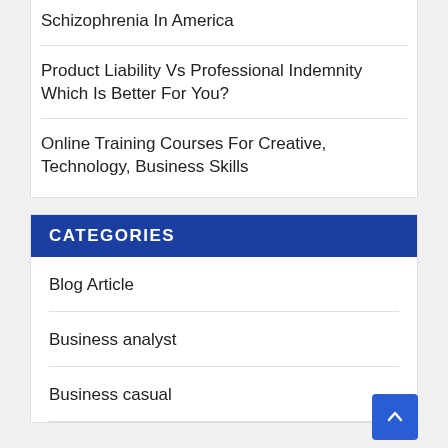Schizophrenia In America
Product Liability Vs Professional Indemnity Which Is Better For You?
Online Training Courses For Creative, Technology, Business Skills
CATEGORIES
Blog Article
Business analyst
Business casual